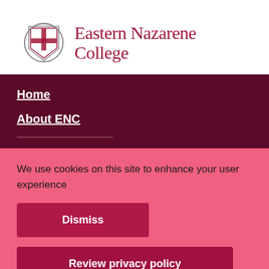[Figure (logo): Eastern Nazarene College logo with shield crest and college name in dark red serif font]
Home
About ENC
We use cookies on this site to enhance your user experience
Dismiss
Review privacy policy